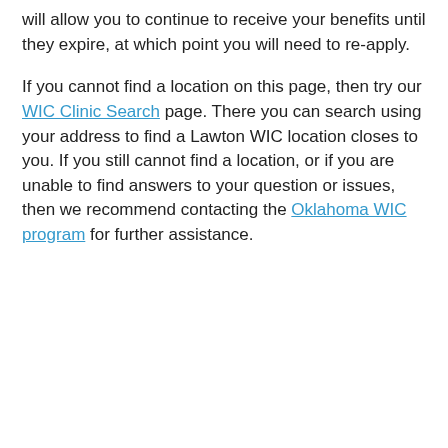will allow you to continue to receive your benefits until they expire, at which point you will need to re-apply.
If you cannot find a location on this page, then try our WIC Clinic Search page. There you can search using your address to find a Lawton WIC location closes to you. If you still cannot find a location, or if you are unable to find answers to your question or issues, then we recommend contacting the Oklahoma WIC program for further assistance.